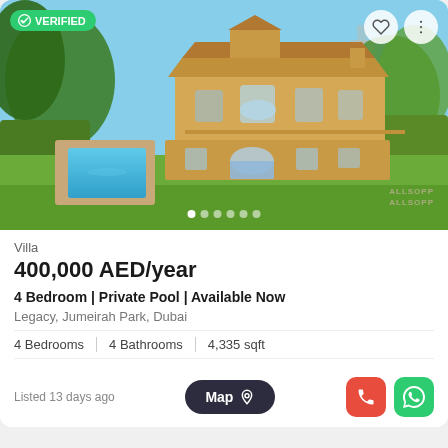[Figure (photo): Exterior photo of a large yellow villa with private pool, green lawn, and trees in Jumeirah Park, Dubai. ALLSOPP ALLSOPP watermark in corner. VERIFIED badge top left, heart and menu icons top right, image carousel dots at bottom.]
Villa
400,000 AED/year
4 Bedroom | Private Pool | Available Now
Legacy, Jumeirah Park, Dubai
4 Bedrooms  4 Bathrooms  4,335 sqft
Listed 13 days ago